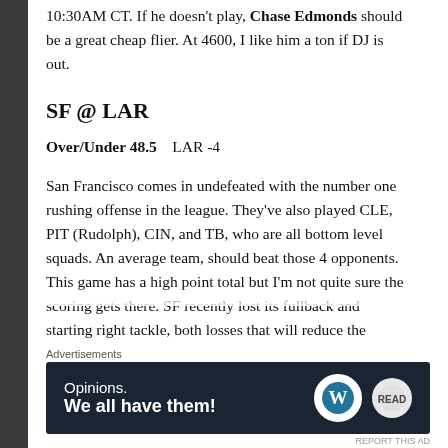10:30AM CT. If he doesn't play, Chase Edmonds should be a great cheap flier. At 4600, I like him a ton if DJ is out.
SF @ LAR
Over/Under 48.5    LAR -4
San Francisco comes in undefeated with the number one rushing offense in the league. They've also played CLE, PIT (Rudolph), CIN, and TB, who are all bottom level squads. An average team, should beat those 4 opponents. This game has a high point total but I'm not quite sure the scoring gets there. SF recently lost its fullback and starting right tackle, both losses that will reduce the potency of their ground
Advertisements
[Figure (other): Advertisement banner with dark navy background. Left side shows text 'Opinions. We all have them!' Right side shows WordPress logo circle and another circular logo.]